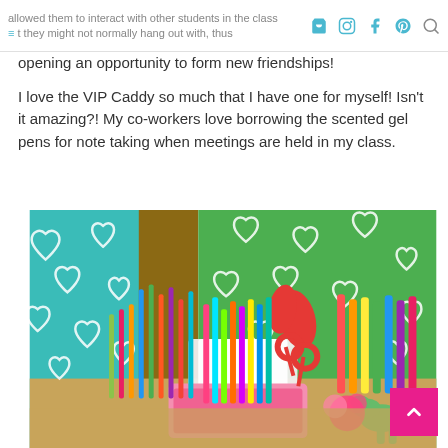allowed them to interact with other students in the class that they might not normally hang out with, thus opening an opportunity to form new friendships!
opening an opportunity to form new friendships!
I love the VIP Caddy so much that I have one for myself! Isn't it amazing?! My co-workers love borrowing the scented gel pens for note taking when meetings are held in my class.
[Figure (photo): A VIP Caddy filled with colorful pens, markers, scissors, crayons, and other school supplies, placed on a wooden desk with teal and green backgrounds featuring white heart patterns.]